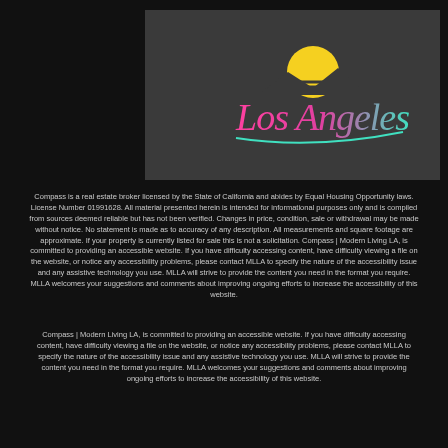[Figure (logo): Los Angeles retro-style logo with a yellow sun setting behind mountains, text 'Los Angeles' in pink-to-teal gradient script, on a dark gray background]
Compass is a real estate broker licensed by the State of California and abides by Equal Housing Opportunity laws. License Number 01991628. All material presented herein is intended for informational purposes only and is compiled from sources deemed reliable but has not been verified. Changes in price, condition, sale or withdrawal may be made without notice. No statement is made as to accuracy of any description. All measurements and square footage are approximate. If your property is currently listed for sale this is not a solicitation. Compass | Modern Living LA, is committed to providing an accessible website. If you have difficulty accessing content, have difficulty viewing a file on the website, or notice any accessibility problems, please contact MLLA to specify the nature of the accessibility issue and any assistive technology you use. MLLA will strive to provide the content you need in the format you require. MLLA welcomes your suggestions and comments about improving ongoing efforts to increase the accessibility of this website.
Compass | Modern Living LA, is committed to providing an accessible website. If you have difficulty accessing content, have difficulty viewing a file on the website, or notice any accessibility problems, please contact MLLA to specify the nature of the accessibility issue and any assistive technology you use. MLLA will strive to provide the content you need in the format you require. MLLA welcomes your suggestions and comments about improving ongoing efforts to increase the accessibility of this website.